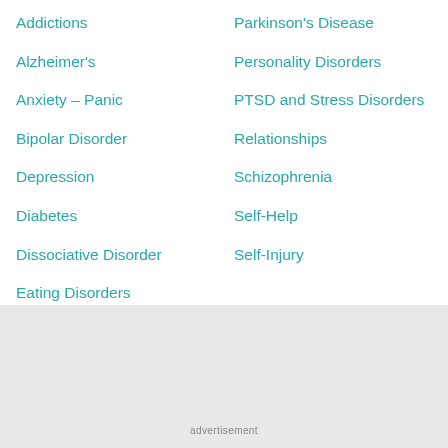Addictions
Parkinson's Disease
Alzheimer's
Personality Disorders
Anxiety – Panic
PTSD and Stress Disorders
Bipolar Disorder
Relationships
Depression
Schizophrenia
Diabetes
Self-Help
Dissociative Disorder
Self-Injury
Eating Disorders
advertisement